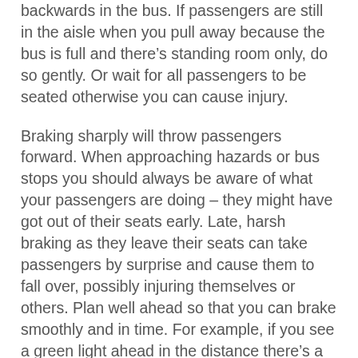backwards in the bus. If passengers are still in the aisle when you pull away because the bus is full and there's standing room only, do so gently. Or wait for all passengers to be seated otherwise you can cause injury.
Braking sharply will throw passengers forward. When approaching hazards or bus stops you should always be aware of what your passengers are doing – they might have got out of their seats early. Late, harsh braking as they leave their seats can take passengers by surprise and cause them to fall over, possibly injuring themselves or others. Plan well ahead so that you can brake smoothly and in time. For example, if you see a green light ahead in the distance there's a chance it will be red by the time you get there, so adjust your speed so that you don't have to brake sharply.